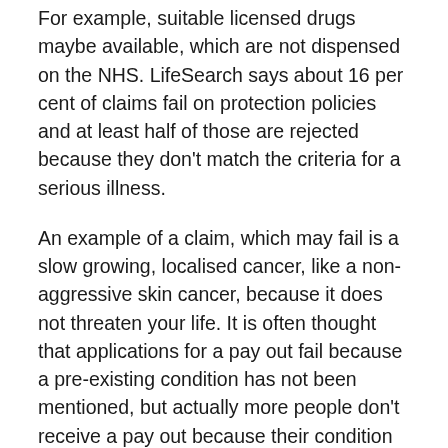For example, suitable licensed drugs maybe available, which are not dispensed on the NHS. LifeSearch says about 16 per cent of claims fail on protection policies and at least half of those are rejected because they don't match the criteria for a serious illness.
An example of a claim, which may fail is a slow growing, localised cancer, like a non-aggressive skin cancer, because it does not threaten your life. It is often thought that applications for a pay out fail because a pre-existing condition has not been mentioned, but actually more people don't receive a pay out because their condition is not severe enough. Mr Morris adds that policies should pay out for severe illnesses and diseases. However